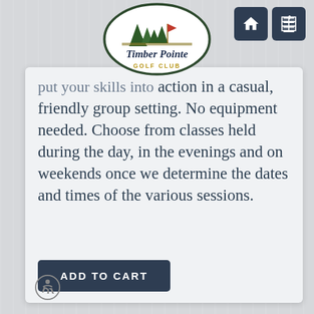[Figure (logo): Timber Pointe Golf Club logo — oval green border with pine trees and a red flag, italic script text 'Timber Pointe' and 'GOLF CLUB' below]
put your skills into action in a casual, friendly group setting. No equipment needed. Choose from classes held during the day, in the evenings and on weekends once we determine the dates and times of the various sessions.
ADD TO CART